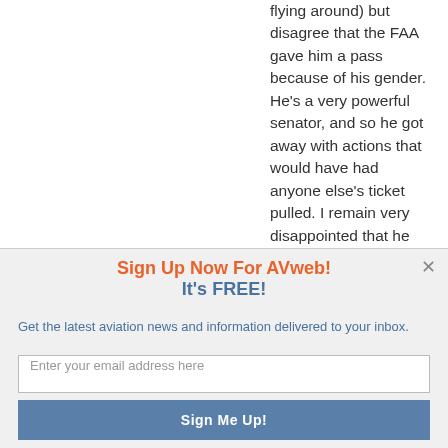flying around) but disagree that the FAA gave him a pass because of his gender. He's a very powerful senator, and so he got away with actions that would have had anyone else's ticket pulled. I remain very disappointed that he got away with a slap on the wrist
Sign Up Now For AVweb!
It's FREE!
Get the latest aviation news and information delivered to your inbox.
Enter your email address here
Sign Me Up!